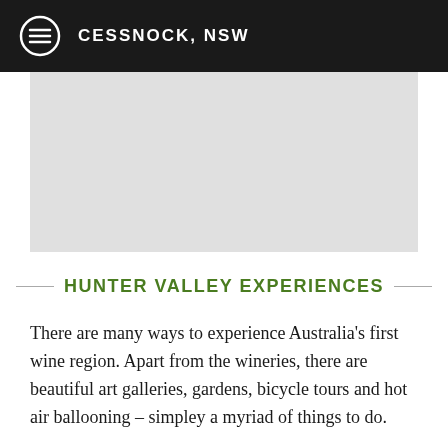CESSNOCK, NSW
[Figure (photo): Placeholder image area, light gray background]
HUNTER VALLEY EXPERIENCES
There are many ways to experience Australia's first wine region. Apart from the wineries, there are beautiful art galleries, gardens, bicycle tours and hot air ballooning – simpley a myriad of things to do.